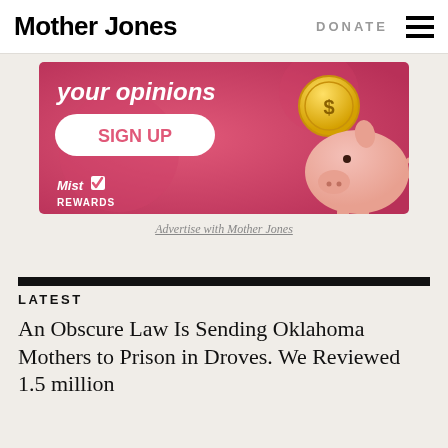Mother Jones | DONATE
[Figure (illustration): Advertisement banner with pink/red background showing a piggy bank, a gold coin with dollar sign, a 'SIGN UP' button, text 'your opinions', and 'MistRewards' logo]
Advertise with Mother Jones
LATEST
An Obscure Law Is Sending Oklahoma Mothers to Prison in Droves. We Reviewed 1.5 million